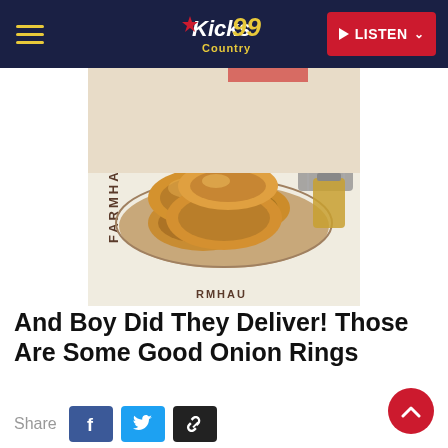Kicks 99 Country | LISTEN
[Figure (photo): A plate of golden fried onion rings on a paper-lined tray at Farmhaus Burger restaurant]
And Boy Did They Deliver! Those Are Some Good Onion Rings
Share